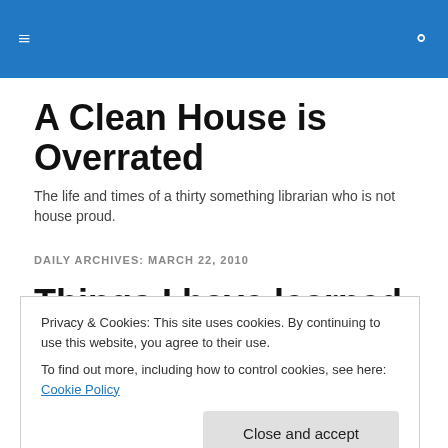≡  🔍
A Clean House is Overrated
The life and times of a thirty something librarian who is not house proud.
DAILY ARCHIVES: MARCH 22, 2010
Things I have learned now that I don't work outside the home
Privacy & Cookies: This site uses cookies. By continuing to use this website, you agree to their use.
To find out more, including how to control cookies, see here: Cookie Policy
Close and accept
starts at 11pm or 3 am I wake up exactly 8.5 hours later.